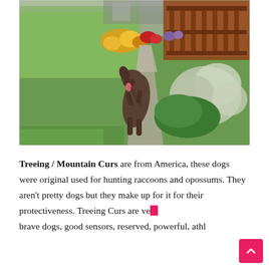[Figure (photo): A brindle dog walking along a garden path surrounded by green lawn, yellow and red flowers in a flower bed, silver-leafed plants, and a wooden deck/railing in the background.]
Treeing / Mountain Curs are from America, these dogs were original used for hunting raccoons and opossums. They aren't pretty dogs but they make up for it for their protectiveness. Treeing Curs are very brave dogs, good sensors, reserved, powerful, athl...